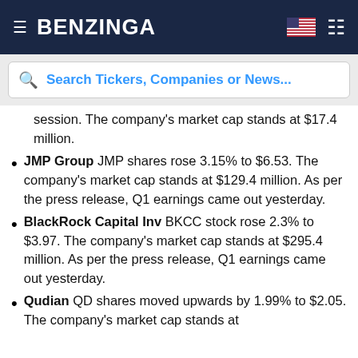BENZINGA
Search Tickers, Companies or News...
session. The company's market cap stands at $17.4 million.
JMP Group JMP shares rose 3.15% to $6.53. The company's market cap stands at $129.4 million. As per the press release, Q1 earnings came out yesterday.
BlackRock Capital Inv BKCC stock rose 2.3% to $3.97. The company's market cap stands at $295.4 million. As per the press release, Q1 earnings came out yesterday.
Qudian QD shares moved upwards by 1.99% to $2.05. The company's market cap stands at